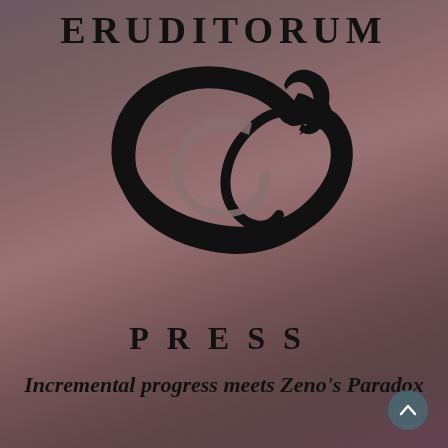ERUDITORUM
[Figure (logo): Eruditorum Press stylized 'EP' cursive logo in black on muted reddish-brown painterly background]
PRESS
Incremental progress meets Zeno's Paradox